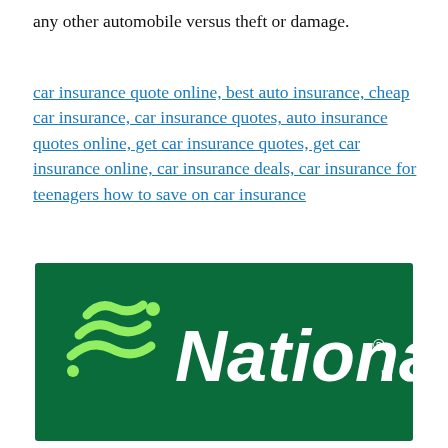any other automobile versus theft or damage.
car insurance quote online, best auto insurance, cheap car insurance, car insurance quotes, auto insurance quotes online, get car insurance quotes, get car insurance online, car insurance deals, car insurance for teenagers how to save on car insurance
[Figure (logo): National Car Rental logo — green background with light green wavy lines and a stylized figure icon on the left, white italic text 'National.' on the right with a registered trademark symbol.]